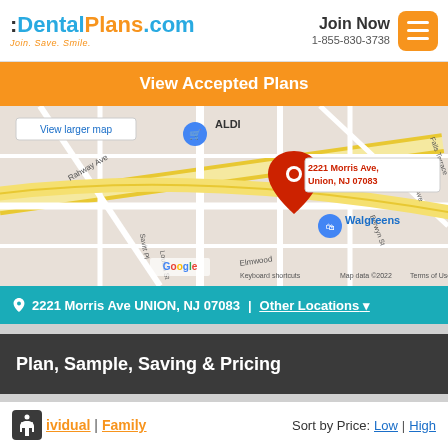DentalPlans.com Join. Save. Smile. | Join Now 1-855-830-3738
View Accepted Plans
[Figure (map): Google Map showing 2221 Morris Ave, Union, NJ 07083 with a red pin marker. Nearby landmarks include ALDI, Walgreens, Rahway Ave. Map data ©2022. View larger map link. Keyboard shortcuts. Terms of Use.]
2221 Morris Ave UNION, NJ 07083 | Other Locations
Plan, Sample, Saving & Pricing
Individual | Family   Sort by Price: Low | High